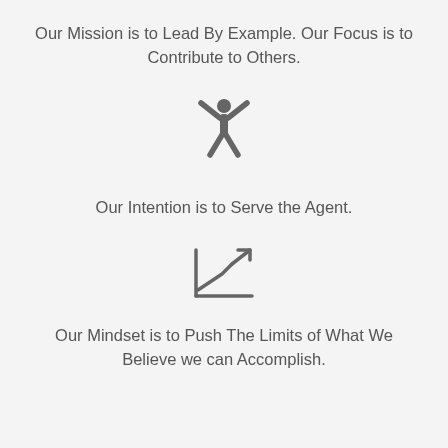Our Mission is to Lead By Example. Our Focus is to Contribute to Others.
[Figure (illustration): Grey stick figure icon with arms raised upward]
Our Intention is to Serve the Agent.
[Figure (illustration): Grey upward trending line chart icon with arrow]
Our Mindset is to Push The Limits of What We Believe we can Accomplish.